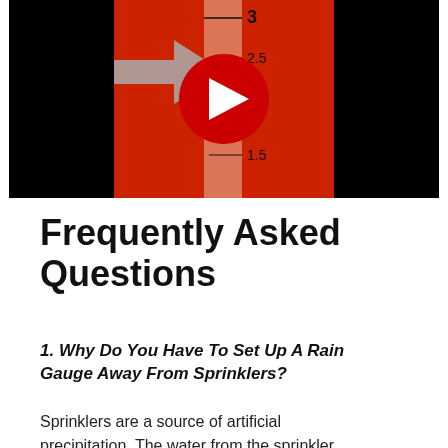[Figure (screenshot): A video thumbnail showing a rain gauge with a red background. The gauge shows measurement markings at 1.5, 2, 2.5, and 3. A gray arrow points to the water level. A YouTube play button (red circle with white triangle) is overlaid in the center.]
Frequently Asked Questions
1. Why Do You Have To Set Up A Rain Gauge Away From Sprinklers?
Sprinklers are a source of artificial precipitation. The water from the sprinkler